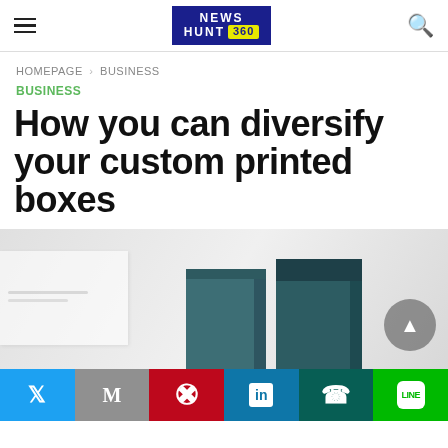NEWS HUNT 360 — [logo header with hamburger menu and search icon]
HOMEPAGE › BUSINESS
BUSINESS
How you can diversify your custom printed boxes
[Figure (photo): Hero image showing custom printed boxes in dark teal/green color on a light grey background. Two boxes visible — one closed rectangular box and one open-top box.]
Social share bar: Twitter, Gmail, Pinterest, LinkedIn, WhatsApp, LINE